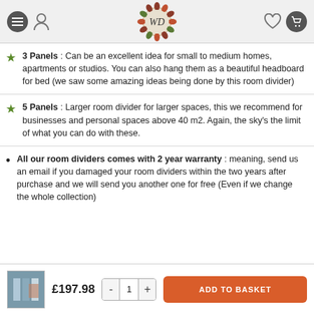WD logo and navigation header
3 Panels : Can be an excellent idea for small to medium homes, apartments or studios. You can also hang them as a beautiful headboard for bed (we saw some amazing ideas being done by this room divider)
5 Panels : Larger room divider for larger spaces, this we recommend for businesses and personal spaces above 40 m2. Again, the sky's the limit of what you can do with these.
All our room dividers comes with 2 year warranty : meaning, send us an email if you damaged your room dividers within the two years after purchase and we will send you another one for free (Even if we change the whole collection)
£197.98  -  1  +  ADD TO BASKET